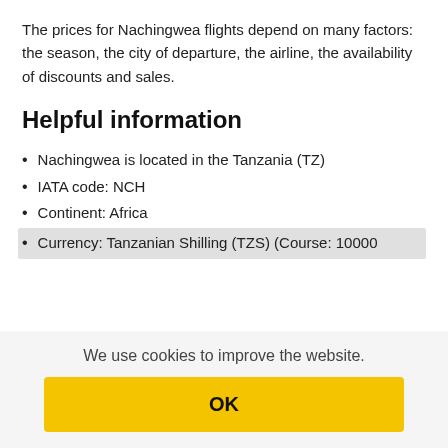The prices for Nachingwea flights depend on many factors: the season, the city of departure, the airline, the availability of discounts and sales.
Helpful information
Nachingwea is located in the Tanzania (TZ)
IATA code: NCH
Continent: Africa
Currency: Tanzanian Shilling (TZS) (Course: 10000
We use cookies to improve the website.
OK